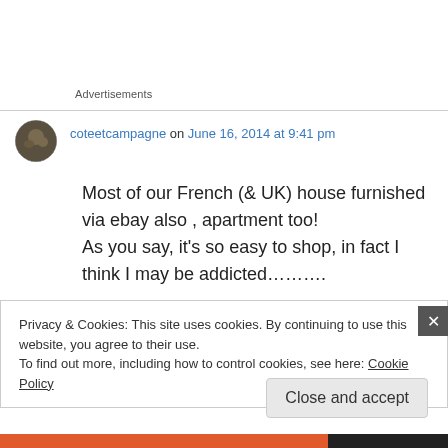Advertisements
coteetcampagne on June 16, 2014 at 9:41 pm
Most of our French (& UK) house furnished via ebay also , apartment too! As you say, it's so easy to shop, in fact I think I may be addicted……….
Privacy & Cookies: This site uses cookies. By continuing to use this website, you agree to their use.
To find out more, including how to control cookies, see here: Cookie Policy